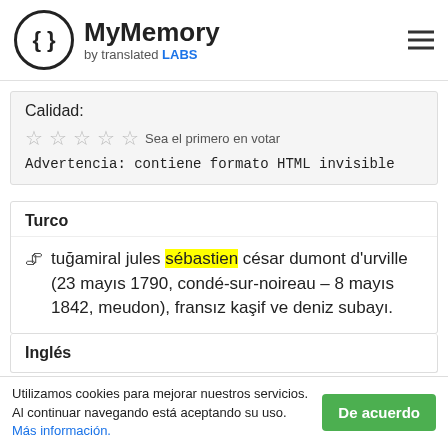[Figure (logo): MyMemory by translated LABS logo with curly braces in a circle]
Calidad:
☆☆☆☆☆ Sea el primero en votar
Advertencia: contiene formato HTML invisible
Turco
tuğamiral jules sébastien césar dumont d'urville (23 mayıs 1790, condé-sur-noireau – 8 mayıs 1842, meudon), fransız kaşif ve deniz subayı.
Inglés
Utilizamos cookies para mejorar nuestros servicios. Al continuar navegando está aceptando su uso. Más información.